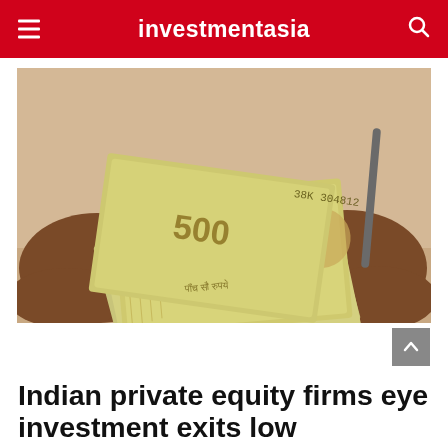investmentasia
[Figure (photo): Two hands counting Indian 500 rupee banknotes on a table, close-up shot]
Indian private equity firms eye investment exits low